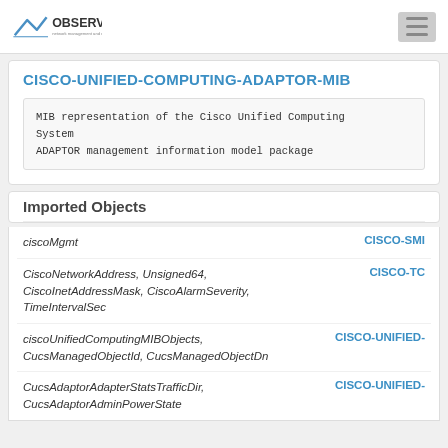OBSERVIUM network management and monitoring
CISCO-UNIFIED-COMPUTING-ADAPTOR-MIB
MIB representation of the Cisco Unified Computing System
ADAPTOR management information model package
Imported Objects
| Object | Source |
| --- | --- |
| ciscoMgmt | CISCO-SMI |
| CiscoNetworkAddress, Unsigned64, CiscoInetAddressMask, CiscoAlarmSeverity, TimeIntervalSec | CISCO-TC |
| ciscoUnifiedComputingMIBObjects, CucsManagedObjectId, CucsManagedObjectDn | CISCO-UNIFIED- |
| CucsAdaptorAdapterStatsTrafficDir, CucsAdaptorAdminPowerState | CISCO-UNIFIED- |